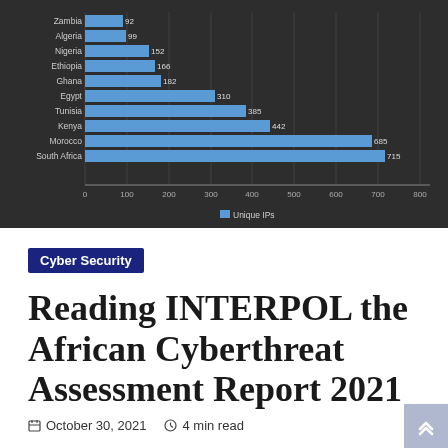[Figure (bar-chart): Unique IPs by Country]
Cyber Security
Reading INTERPOL the African Cyberthreat Assessment Report 2021
October 30, 2021  4 min read